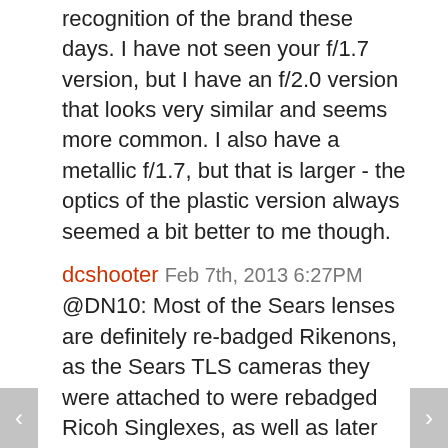recognition of the brand these days. I have not seen your f/1.7 version, but I have an f/2.0 version that looks very similar and seems more common. I also have a metallic f/1.7, but that is larger - the optics of the plastic version always seemed a bit better to me though.
dcshooter Feb 7th, 2013 6:27PM
@DN10: Most of the Sears lenses are definitely re-badged Rikenons, as the Sears TLS cameras they were attached to were rebadged Ricoh Singlexes, as well as later Ricoh K mount bodies. (I've also heard that there are a few Sears lenses that are Chinons and maybe Cosinas. too). Almost all of the primes are quite excellent, similar in quality to their Pentax equivalents.
nanok Feb 7th, 2013 5:59PM
okay, fair enough, i stand corrected :). i was just commenting on what it sounded like form the article alone, you're clearly not unreasonable, if you're able to